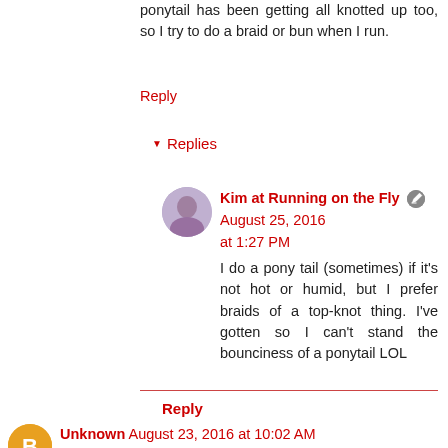ponytail has been getting all knotted up too, so I try to do a braid or bun when I run.
Reply
Replies
Kim at Running on the Fly August 25, 2016 at 1:27 PM
I do a pony tail (sometimes) if it's not hot or humid, but I prefer braids of a top-knot thing. I've gotten so I can't stand the bounciness of a ponytail LOL
Reply
Unknown August 23, 2016 at 10:02 AM
I think when you oversleep it is your bodies way of saying I need more rest. Great job on #Nevermissamonday! I always think of this on Mondays too! Great job on last minute thinking to do the stairs when it's storming outside